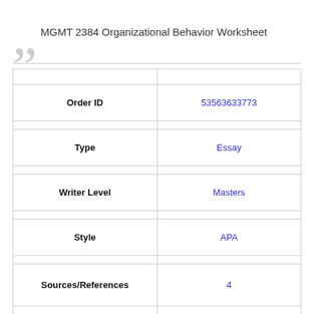MGMT 2384 Organizational Behavior Worksheet
|  |  |
| --- | --- |
| Order ID | 53563633773 |
| Type | Essay |
| Writer Level | Masters |
| Style | APA |
| Sources/References | 4 |
| Perfect Number of Pages to Order | 5-10 Pages |